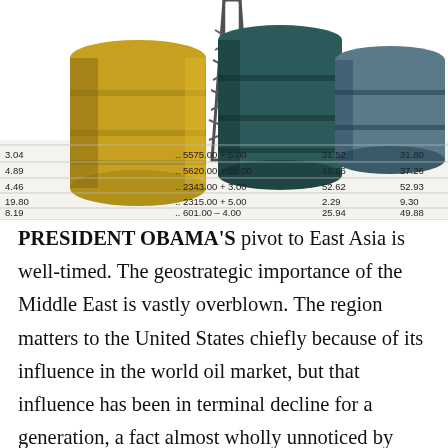[Figure (illustration): Collage image of oil barrels (yellow and teal/dark) with an oil derrick in the background and overlaid financial market data table showing numbers such as 5575.00 +5.00, 5620.00 +25.00, 2343.00 +3.00, 2315.00 +5.00, 601.00 -4.00, 617.00 -2.00 with columns of figures including 31.52, 31.80, 18.96, 37.26, 52.62, 52.93, 2.29, 9.30, 25.94, 49.88, 30.82, 30.82]
PRESIDENT OBAMA'S pivot to East Asia is well-timed. The geostrategic importance of the Middle East is vastly overblown. The region matters to the United States chiefly because of its influence in the world oil market, but that influence has been in terminal decline for a generation, a fact almost wholly unnoticed by outside observers. A confluence of developments including rising prices and production costs